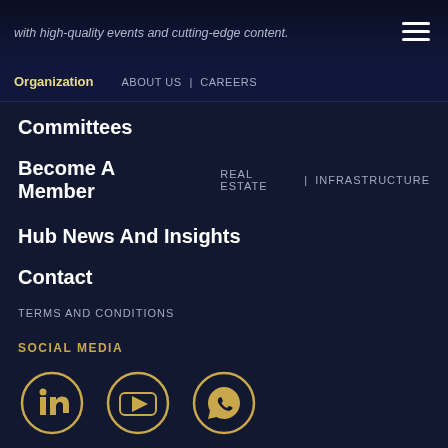with high-quality events and cutting-edge content.
Organization   ABOUT US  |  CAREERS
Committees
Become A Member   REAL ESTATE  |  INFRASTRUCTURE
Hub News And Insights
Contact
TERMS AND CONDITIONS
SOCIAL MEDIA
[Figure (illustration): Three social media icons in gold circles: LinkedIn, YouTube, WhatsApp]